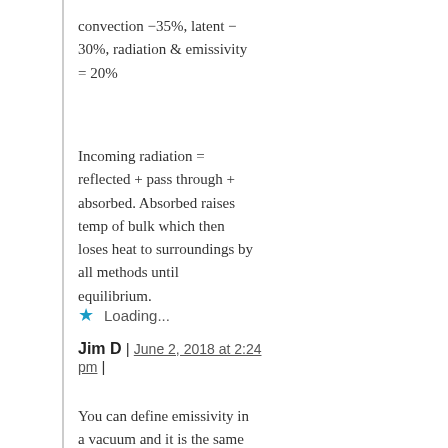convection −35%, latent − 30%, radiation & emissivity = 20%
Incoming radiation = reflected + pass through + absorbed. Absorbed raises temp of bulk which then loses heat to surroundings by all methods until equilibrium.
Loading...
Jim D | June 2, 2018 at 2:24 pm |
You can define emissivity in a vacuum and it is the same number. Your definition is